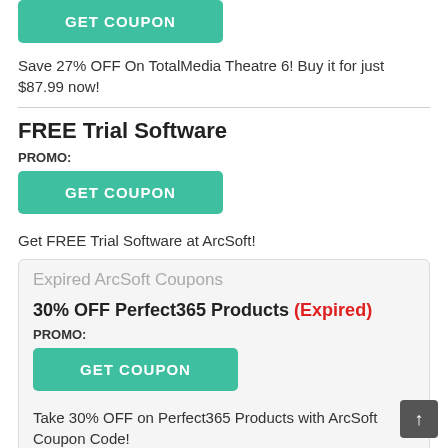[Figure (other): GET COUPON teal button (top, partially visible)]
Save 27% OFF On TotalMedia Theatre 6! Buy it for just $87.99 now!
FREE Trial Software
PROMO:
[Figure (other): GET COUPON teal button]
Get FREE Trial Software at ArcSoft!
Expired ArcSoft Coupons
30% OFF Perfect365 Products (Expired)
PROMO:
[Figure (other): GET COUPON teal button]
Take 30% OFF on Perfect365 Products with ArcSoft Coupon Code!